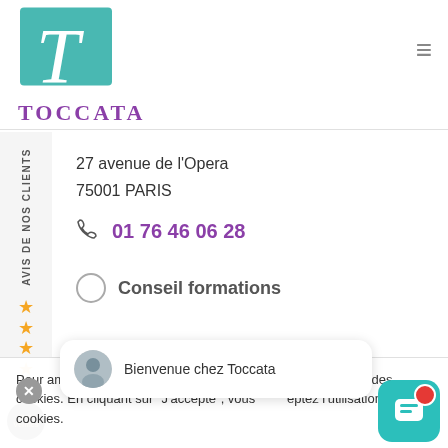[Figure (logo): Toccata logo with teal/turquoise stylized T letter and company name below]
27 avenue de l'Opera
75001 PARIS
01 76 46 06 28
Conseil formations
Pour améliorer votre expérience de navigation, nous utilisons des cookies. En cliquant sur "J'accepte", vous acceptez l'utilisation des cookies.
Bienvenue chez Toccata